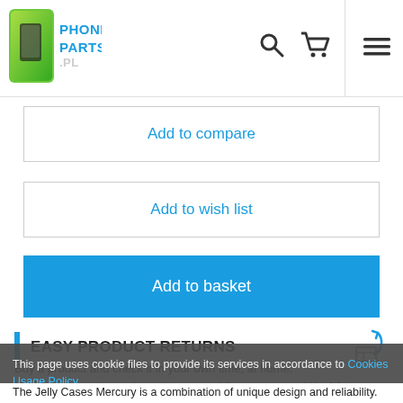PhoneParts.pl — navigation header with logo, search, cart, and menu icons
Add to compare
Add to wish list
Add to basket
EASY PRODUCT RETURNS
Buy a product and check it in your own time, at home. You can return the product without providing a reason within 14 days.
This page uses cookie files to provide its services in accordance to Cookies Usage Policy.
Close
The Jelly Cases Mercury is a combination of unique design and reliability.